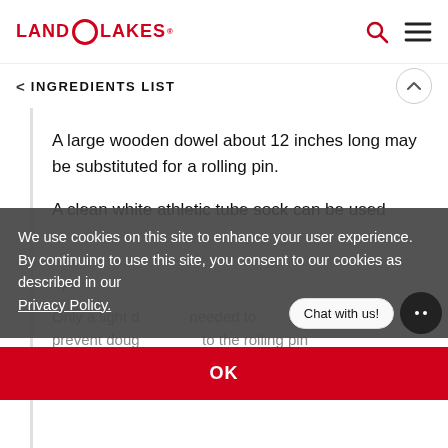LAND O LAKES
INGREDIENTS LIST
A large wooden dowel about 12 inches long may be substituted for a rolling pin.
A clean white athletic tube sock can be used as a substitute for the rolling pin cover. Slip over the rolling pin. See Tips.
Tips
Only a light dusting of flour is needed to prevent dough from sticking to the rolling pin
We use cookies on this site to enhance your user experience. By continuing to use this site, you consent to our cookies as described in our Privacy Policy.
OK